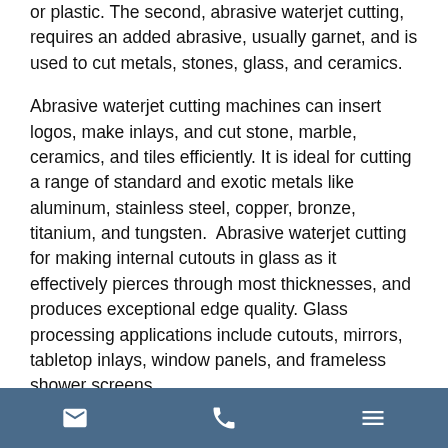or plastic. The second, abrasive waterjet cutting, requires an added abrasive, usually garnet, and is used to cut metals, stones, glass, and ceramics.
Abrasive waterjet cutting machines can insert logos, make inlays, and cut stone, marble, ceramics, and tiles efficiently. It is ideal for cutting a range of standard and exotic metals like aluminum, stainless steel, copper, bronze, titanium, and tungsten.  Abrasive waterjet cutting for making internal cutouts in glass as it effectively pierces through most thicknesses, and produces exceptional edge quality. Glass processing applications include cutouts, mirrors, tabletop inlays, window panels, and frameless shower screens.
Its able to accomplish this cutting through an enormous amount of pressure.Waterjet cutting creates an intense cutting stream by focusing a jet of water at high velocity
[email icon] [phone icon] [menu icon]